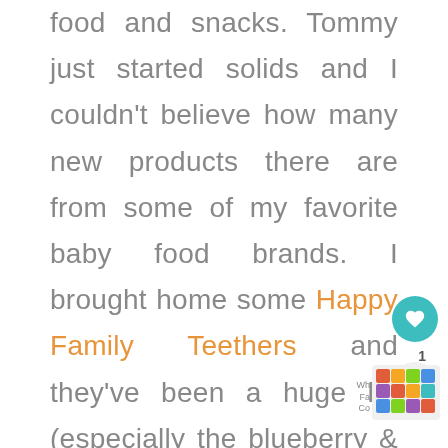food and snacks. Tommy just started solids and I couldn't believe how many new products there are from some of my favorite baby food brands. I brought home some Happy Family Teethers and they've been a huge hit (especially the blueberry & purple carrot). This year, I was able to kick back and relax in